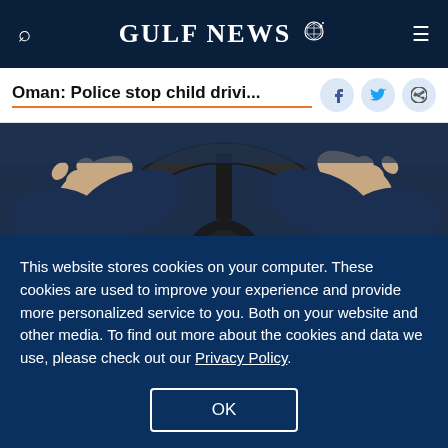GULF NEWS
Oman: Police stop child drivi...
[Figure (photo): Close-up photo of hands gripping a car steering wheel, person wearing dark blue jacket sleeves]
Picture for illustrative purposes.
Image Credit: Shutterstock
Dubai: In a shocking video that has gone viral on
This website stores cookies on your computer. These cookies are used to improve your experience and provide more personalized service to you. Both on your website and other media. To find out more about the cookies and data we use, please check out our Privacy Policy.
OK